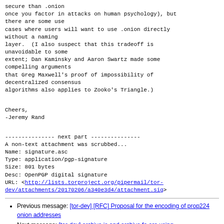secure than .onion
once you factor in attacks on human psychology), but there are some use
cases where users will want to use .onion directly without a naming
layer.  (I also suspect that this tradeoff is unavoidable to some
extent; Dan Kaminsky and Aaron Swartz made some compelling arguments
that Greg Maxwell's proof of impossibility of decentralized consensus
algorithms also applies to Zooko's Triangle.)
Cheers,
-Jeremy Rand
--------------- next part ---------------
A non-text attachment was scrubbed...
Name: signature.asc
Type: application/pgp-signature
Size: 801 bytes
Desc: OpenPGP digital signature
URL: <http://lists.torproject.org/pipermail/tor-dev/attachments/20170206/a340e3d4/attachment.sig>
Previous message: [tor-dev] [RFC] Proposal for the encoding of prop224 onion addresses
Next message: [tor-dev] archive.is and archive.fo are using